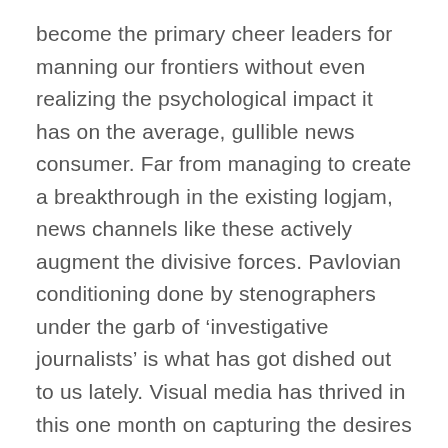become the primary cheer leaders for manning our frontiers without even realizing the psychological impact it has on the average, gullible news consumer. Far from managing to create a breakthrough in the existing logjam, news channels like these actively augment the divisive forces. Pavlovian conditioning done by stenographers under the garb of ‘investigative journalists’ is what has got dished out to us lately. Visual media has thrived in this one month on capturing the desires of a consumer which secretly wants surprises to bring some excitement in an otherwise mundane daily routine. The government has been hugely successful in advertising itself in this environment and so has the visual media.